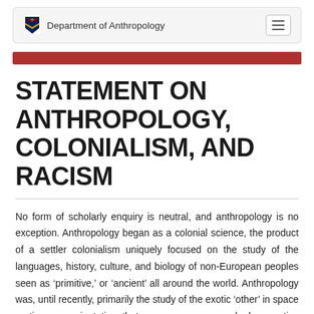Department of Anthropology
STATEMENT ON ANTHROPOLOGY, COLONIALISM, AND RACISM
No form of scholarly enquiry is neutral, and anthropology is no exception. Anthropology began as a colonial science, the product of a settler colonialism uniquely focused on the study of the languages, history, culture, and biology of non-European peoples seen as ‘primitive,’ or ‘ancient’ all around the world. Anthropology was, until recently, primarily the study of the exotic ‘other’ in space or time, an orientation that presumes an unmarked normative ‘self’ – white, Euro-American, and often